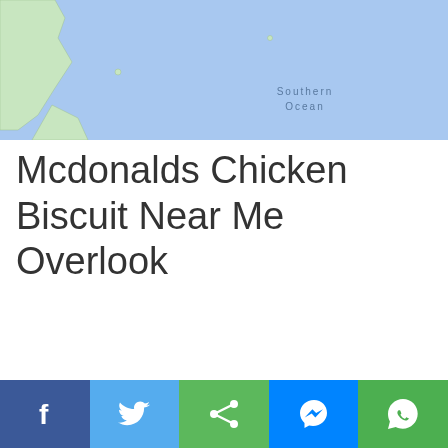[Figure (map): Google Maps screenshot showing Southern Ocean and a coastal landmass (likely southern South America) with text 'Southern Ocean' in the blue ocean area]
Mcdonalds Chicken Biscuit Near Me Overlook
[Figure (infographic): Social sharing bar with five buttons: Facebook (dark blue, f icon), Twitter (light blue, bird icon), Share (green, share icon), Messenger (blue, messenger icon), WhatsApp (green, phone icon)]